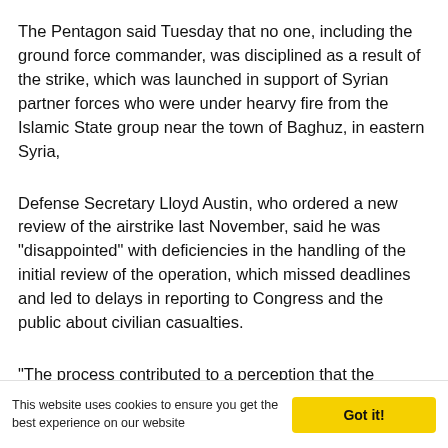The Pentagon said Tuesday that no one, including the ground force commander, was disciplined as a result of the strike, which was launched in support of Syrian partner forces who were under hearvy fire from the Islamic State group near the town of Baghuz, in eastern Syria,
Defense Secretary Lloyd Austin, who ordered a new review of the airstrike last November, said he was "disappointed" with deficiencies in the handling of the initial review of the operation, which missed deadlines and led to delays in reporting to Congress and the public about civilian casualties.
"The process contributed to a perception that the Department was not committed to transparency and was not taking the
This website uses cookies to ensure you get the best experience on our website   Got it!